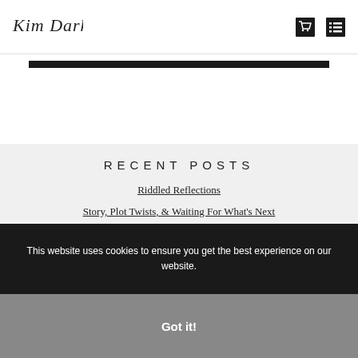Kim Dark [logo] [cart icon] [menu icon]
RECENT POSTS
Riddled Reflections
Story, Plot Twists, & Waiting For What's Next
What's In A Name
The Wonder of Possibility
Whispering Lyrics
Unknown
This website uses cookies to ensure you get the best experience on our website.
Got it!